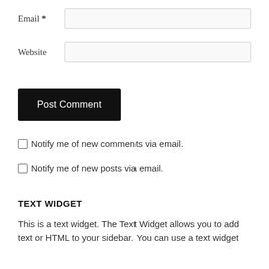Email *
Website
Post Comment
Notify me of new comments via email.
Notify me of new posts via email.
TEXT WIDGET
This is a text widget. The Text Widget allows you to add text or HTML to your sidebar. You can use a text widget to display text, links, images, HTML, or a combination of these. Edit them in the Widget section of the Customizer.